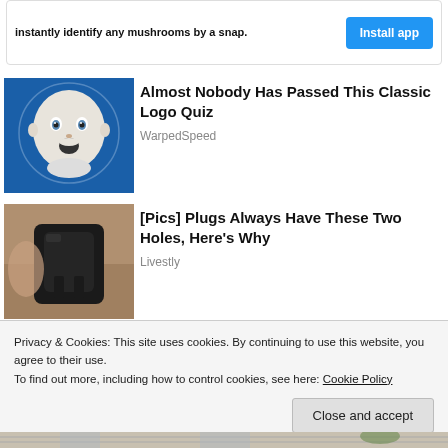[Figure (screenshot): App install banner with text 'instantly identify any mushrooms by a snap.' and a blue 'Install app' button]
[Figure (illustration): Thumbnail image of a baby face sketch on blue background — Gerber baby logo style]
Almost Nobody Has Passed This Classic Logo Quiz
WarpedSpeed
[Figure (photo): Thumbnail photo of a hand holding an electrical plug, close-up, dark background]
[Pics] Plugs Always Have These Two Holes, Here's Why
Livestly
Privacy & Cookies: This site uses cookies. By continuing to use this website, you agree to their use.
To find out more, including how to control cookies, see here: Cookie Policy
Close and accept
[Figure (photo): Bottom strip showing a partial photo of a house exterior with siding and trees]